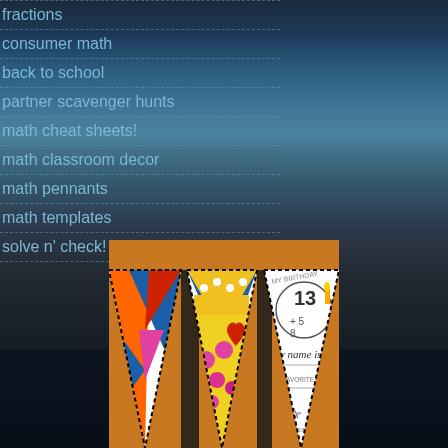fractions
consumer math
back to school
partner scavenger hunts
math cheat sheets!
math classroom decor
math pennants
math templates
solve n' check! math tasks
[Figure (photo): Colorful math pennant banners hanging on a string against an orange background. Pennants show geometric art patterns, polka dots, and a birthday-themed pennant with 'my name is', 'MY BIRTHDAY', '13', 'MY FAVORITE CLASS IS...' text, and math facts. Pennants are triangular with dotted black borders.]